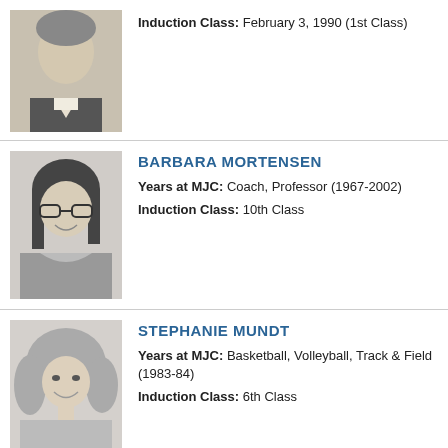[Figure (photo): Black and white portrait photo of a man in a suit, partial view (top portion of entry 1)]
Induction Class: February 3, 1990 (1st Class)
[Figure (photo): Black and white portrait photo of Barbara Mortensen, smiling, wearing glasses]
BARBARA MORTENSEN
Years at MJC: Coach, Professor (1967-2002)
Induction Class: 10th Class
[Figure (photo): Black and white portrait photo of Stephanie Mundt, smiling]
STEPHANIE MUNDT
Years at MJC: Basketball, Volleyball, Track & Field (1983-84)
Induction Class: 6th Class